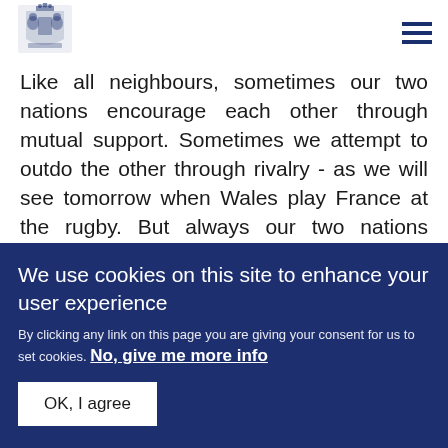[Figure (logo): UK Government royal coat of arms logo]
Like all neighbours, sometimes our two nations encourage each other through mutual support. Sometimes we attempt to outdo the other through rivalry - as we will see tomorrow when Wales play France at the rugby. But always our two nations continually inspire one another to become better; more
We use cookies on this site to enhance your user experience
By clicking any link on this page you are giving your consent for us to set cookies. No, give me more info
OK, I agree